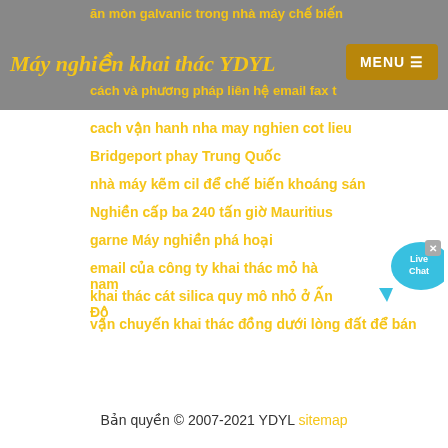Máy nghiền khai thác YDYL
ăn mòn galvanic trong nhà máy chế biến
cách và phương pháp liên hệ email fax t
cach vận hanh nha may nghien cot lieu
Bridgeport phay Trung Quốc
nhà máy kẽm cil để chế biến khoáng sán
Nghiền cấp ba 240 tấn giờ Mauritius
garne Máy nghiền phá hoại
email của công ty khai thác mỏ hà nam
khai thác cát silica quy mô nhỏ ở Ấn Độ
vận chuyến khai thác đồng dưới lòng đất để bán
Bản quyền © 2007-2021 YDYL sitemap